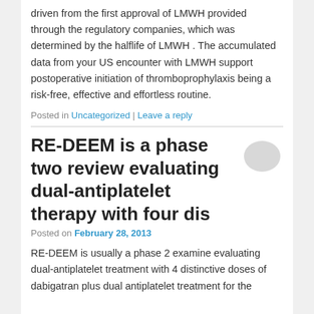driven from the first approval of LMWH provided through the regulatory companies, which was determined by the halflife of LMWH . The accumulated data from your US encounter with LMWH support postoperative initiation of thromboprophylaxis being a risk-free, effective and effortless routine.
Posted in Uncategorized | Leave a reply
RE-DEEM is a phase two review evaluating dual-antiplatelet therapy with four dis
Posted on February 28, 2013
RE-DEEM is usually a phase 2 examine evaluating dual-antiplatelet treatment with 4 distinctive doses of dabigatran plus dual antiplatelet treatment for the